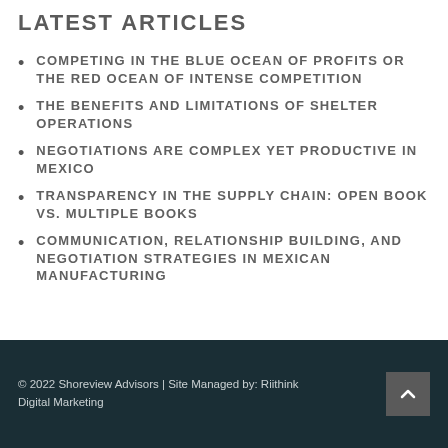LATEST ARTICLES
COMPETING IN THE BLUE OCEAN OF PROFITS OR THE RED OCEAN OF INTENSE COMPETITION
THE BENEFITS AND LIMITATIONS OF SHELTER OPERATIONS
NEGOTIATIONS ARE COMPLEX YET PRODUCTIVE IN MEXICO
TRANSPARENCY IN THE SUPPLY CHAIN: OPEN BOOK VS. MULTIPLE BOOKS
COMMUNICATION, RELATIONSHIP BUILDING, AND NEGOTIATION STRATEGIES IN MEXICAN MANUFACTURING
© 2022 Shoreview Advisors | Site Managed by: Riithink Digital Marketing